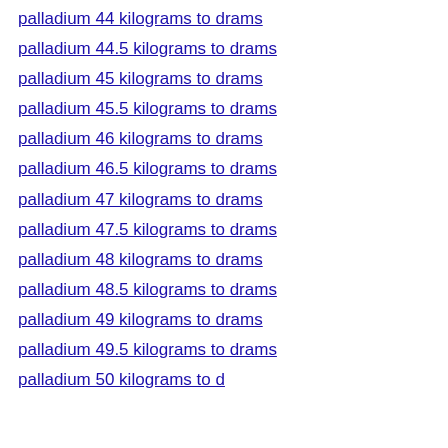palladium 44 kilograms to drams
palladium 44.5 kilograms to drams
palladium 45 kilograms to drams
palladium 45.5 kilograms to drams
palladium 46 kilograms to drams
palladium 46.5 kilograms to drams
palladium 47 kilograms to drams
palladium 47.5 kilograms to drams
palladium 48 kilograms to drams
palladium 48.5 kilograms to drams
palladium 49 kilograms to drams
palladium 49.5 kilograms to drams
palladium 50 kilograms to drams